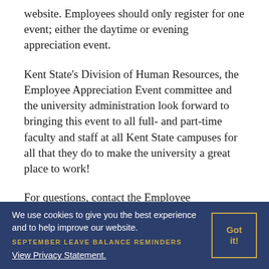website. Employees should only register for one event; either the daytime or evening appreciation event.
Kent State's Division of Human Resources, the Employee Appreciation Event committee and the university administration look forward to bringing this event to all full- and part-time faculty and staff at all Kent State campuses for all that they do to make the university a great place to work!
For questions, contact the Employee Engagement and Outreach Office at 330-672-8075 or hrweb@kent.edu.
SEPTEMBER LEAVE BALANCE REMINDERS
We use cookies to give you the best experience and to help improve our website. View Privacy Statement.